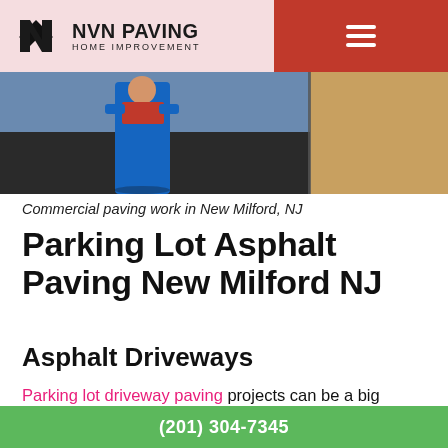[Figure (logo): NVN Paving Home Improvement logo with diamond-shaped icon on pink background, red section on right with hamburger menu]
[Figure (photo): Worker in blue overalls on asphalt paving site with gravel and paving equipment]
Commercial paving work in New Milford, NJ
Parking Lot Asphalt Paving New Milford NJ
Asphalt Driveways
Parking lot driveway paving projects can be a big undertaking. Paving a parking lot requires a lot of equipment and staffing, and it's not a job that can be rushed. It's essential to take the time to plan the project
(201) 304-7345